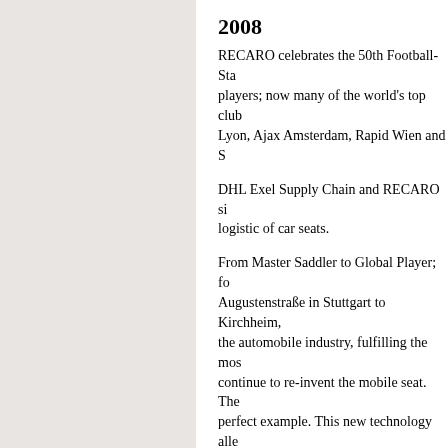2008
RECARO celebrates the 50th Football-Stadium seat; players; now many of the world's top clubs, Lyon, Ajax Amsterdam, Rapid Wien and S...
DHL Exel Supply Chain and RECARO si... logistic of car seats.
From Master Saddler to Global Player; fo... Augustenstraße in Stuttgart to Kirchheim,... the automobile industry, fulfilling the mos... continue to re-invent the mobile seat. The... perfect example. This new technology alle... by approximately 20% compared to tradit... offering a huge diversity of individual des...
Examples of this new seating technology... including, Audi's S3, RS6, TT and R8 mo...
At the Geneva Automobile Show in the be... the Swiss company Rinspeed, presented a... which conforms perfectly to the body and... RECARO appears to have a seat in develo... regardless if he is short, tall, thin or heavy... longer a utopia, instead, it is the uncasing...